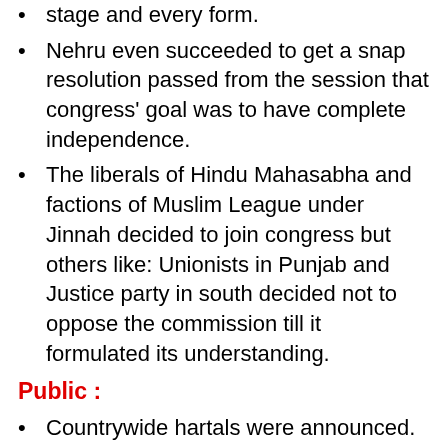stage and every form.
Nehru even succeeded to get a snap resolution passed from the session that congress' goal was to have complete independence.
The liberals of Hindu Mahasabha and factions of Muslim League under Jinnah decided to join congress but others like: Unionists in Punjab and Justice party in south decided not to oppose the commission till it formulated its understanding.
Public :
Countrywide hartals were announced. Wherever the commission it faced black banners and slogans "Simon Go Back". This upsurge proved to be an important event
...that the growth of the congress at the...